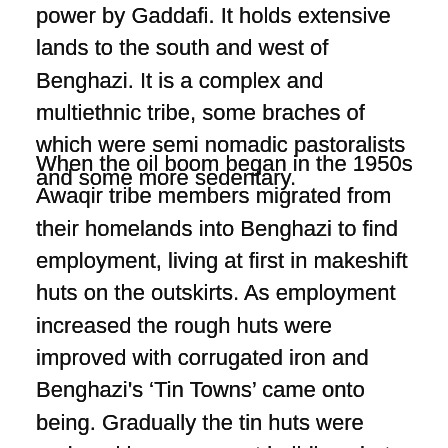power by Gaddafi. It holds extensive lands to the south and west of Benghazi. It is a complex and multiethnic tribe, some braches of which were semi nomadic pastoralists and some more sedentary.
When the oil boom began in the 1950s Awaqir tribe members migrated from their homelands into Benghazi to find employment, living at first in makeshift huts on the outskirts. As employment increased the rough huts were improved with corrugated iron and Benghazi's ‘Tin Towns’ came onto being. Gradually the tin huts were replaced by permanent buildings but tribal and sub-tribal ties were maintained in the new neighbourhoods of Gaddafi’s Benghazi, a city he disliked intensely.
This movement from the traditionally tribal hinterland into the burgeoning cites accelerated as Libya developed a society which derived most of its wealth from oil.
Nowadays at least 80% of the population lives in the